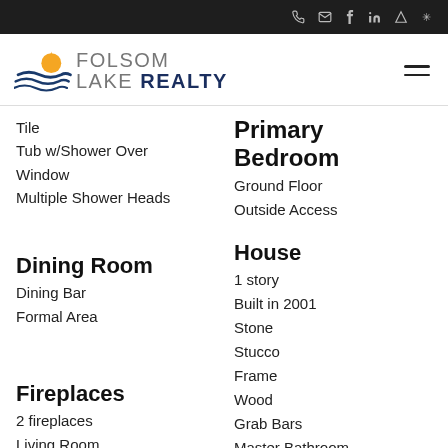Top navigation bar with phone, email, facebook, linkedin, zillow, yelp icons
[Figure (logo): Folsom Lake Realty logo with sun and waves graphic]
Tile
Tub w/Shower Over
Window
Multiple Shower Heads
Primary Bedroom
Ground Floor
Outside Access
Dining Room
Dining Bar
Formal Area
House
1 story
Built in 2001
Stone
Stucco
Frame
Wood
Grab Bars
Master Bathroom
Fireplaces
2 fireplaces
Living Room